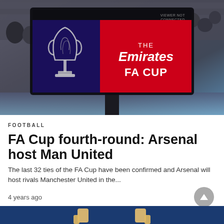[Figure (photo): Emirates FA Cup logo displayed on a large screen/board at a football stadium, with crowd visible in background. Screen shows 'VIEWER NOT CONNECTED' text and the Emirates FA Cup branding with trophy logo on dark blue background and red panel.]
FOOTBALL
FA Cup fourth-round: Arsenal host Man United
The last 32 ties of the FA Cup have been confirmed and Arsenal will host rivals Manchester United in the...
4 years ago
[Figure (photo): Partial view of another article image below, showing hands with thumbs up against dark blue background.]